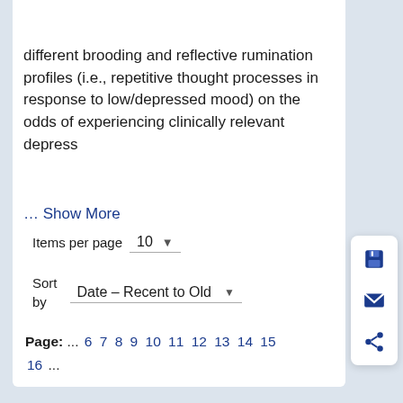experience.
different brooding and reflective rumination profiles (i.e., repetitive thought processes in response to low/depressed mood) on the odds of experiencing clinically relevant depress
... Show More
Items per page  10
Sort by  Date – Recent to Old
Page: ... 6 7 8 9 10 11 12 13 14 15 16 ...